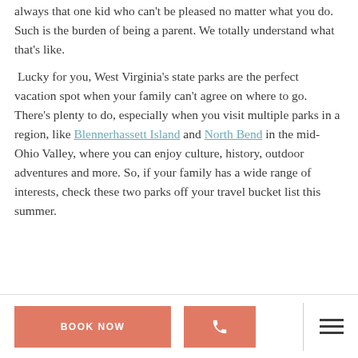always that one kid who can't be pleased no matter what you do. Such is the burden of being a parent. We totally understand what that's like.
Lucky for you, West Virginia's state parks are the perfect vacation spot when your family can't agree on where to go. There's plenty to do, especially when you visit multiple parks in a region, like Blennerhassett Island and North Bend in the mid-Ohio Valley, where you can enjoy culture, history, outdoor adventures and more. So, if your family has a wide range of interests, check these two parks off your travel bucket list this summer.